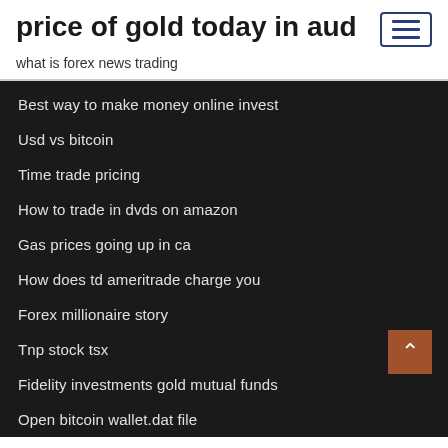price of gold today in aud
what is forex news trading
Best way to make money online invest
Usd vs bitcoin
Time trade pricing
How to trade in dvds on amazon
Gas prices going up in ca
How does td ameritrade charge you
Forex millionaire story
Tnp stock tsx
Fidelity investments gold mutual funds
Open bitcoin wallet.dat file